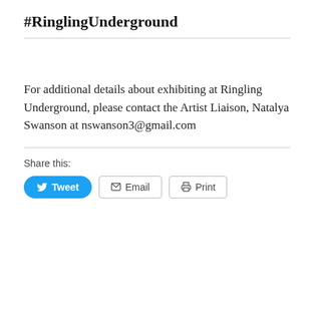#RinglingUnderground
For additional details about exhibiting at Ringling Underground, please contact the Artist Liaison, Natalya Swanson at nswanson3@gmail.com
Share this:
[Figure (other): Social sharing buttons: Tweet (blue Twitter button), Email (outline button with envelope icon), Print (outline button with printer icon)]